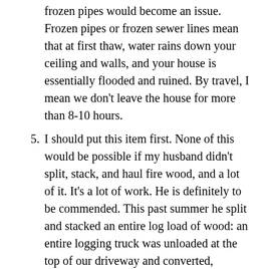frozen pipes would become an issue. Frozen pipes or frozen sewer lines mean that at first thaw, water rains down your ceiling and walls, and your house is essentially flooded and ruined. By travel, I mean we don’t leave the house for more than 8-10 hours.
5. I should put this item first. None of this would be possible if my husband didn’t split, stack, and haul fire wood, and a lot of it. It’s a lot of work. He is definitely to be commended. This past summer he split and stacked an entire log load of wood: an entire logging truck was unloaded at the top of our driveway and converted, through his labor from full size logs to neat stacks of split wood.
The result is that so far, we’ve done well with just the wood stove. We will eventually move the boiler over to